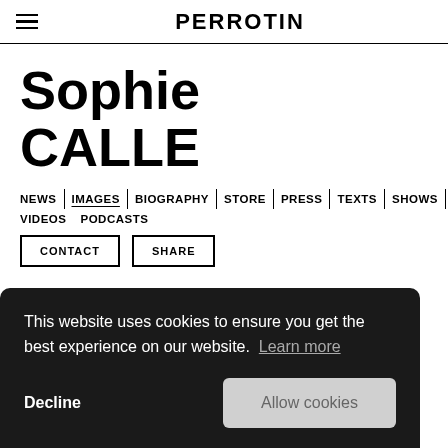PERROTIN
Sophie CALLE
NEWS | IMAGES | BIOGRAPHY | STORE | PRESS | TEXTS | SHOWS | VIDEOS PODCASTS
CONTACT  SHARE
This website uses cookies to ensure you get the best experience on our website. Learn more  Decline  Allow cookies
Born in 1953 in Paris, France